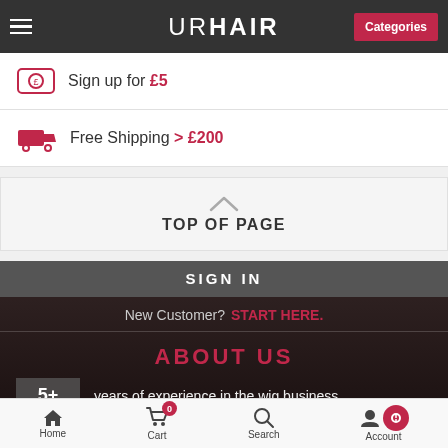URHAIR — Categories
Sign up for £5
Free Shipping > £200
TOP OF PAGE
SIGN IN
New Customer? START HERE.
ABOUT US
5+ years of experience in the wig business
Home  Cart 0  Search  Account